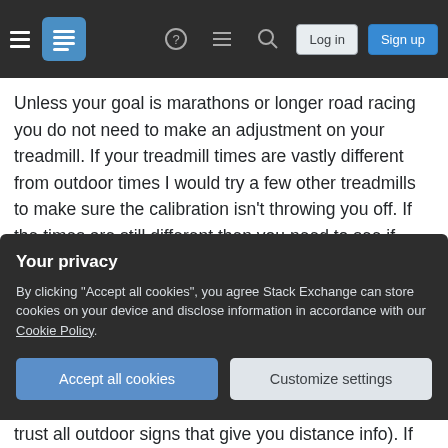Navigation bar with hamburger menu, logo, help, comments, search icons, Log in and Sign up buttons
Unless your goal is marathons or longer road racing you do not need to make an adjustment on your treadmill. If your treadmill times are vastly different from outdoor times I would try a few other treadmills to make sure the calibration isn't throwing you off. If the times are still different then you need to see if there is something you can do to help your "slow area". If your outdoor times are slower are you sure the running area is flat, are you sure about the distances, do you like where you run, are there
Your privacy
By clicking "Accept all cookies", you agree Stack Exchange can store cookies on your device and disclose information in accordance with our Cookie Policy.
Accept all cookies
Customize settings
trust all outdoor signs that give you distance info). If